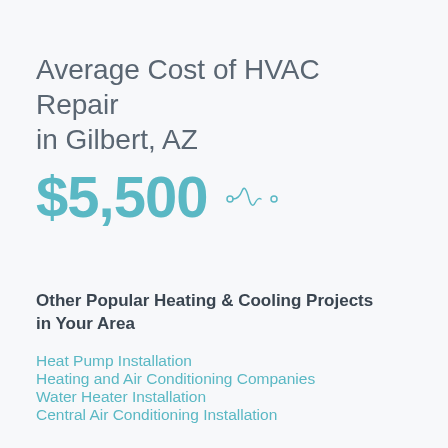Average Cost of HVAC Repair in Gilbert, AZ
$5,500
Other Popular Heating & Cooling Projects in Your Area
Heat Pump Installation
Heating and Air Conditioning Companies
Water Heater Installation
Central Air Conditioning Installation